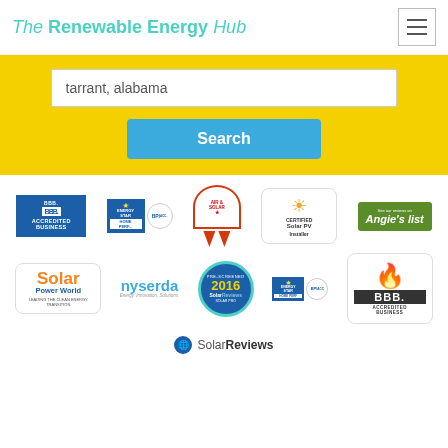The Renewable Energy Hub
tarrant, alabama
Search
[Figure (logo): BBB Accredited Business logo]
[Figure (logo): Energy Star and BPI certification logos]
[Figure (logo): Award/ribbon badge]
[Figure (logo): Certified Solar PV Installer badge]
[Figure (logo): See our reviews on Angie's list badge]
[Figure (logo): Solar Power World logo]
[Figure (logo): nyserda Energy Innovation Solutions logo]
[Figure (logo): Pre-screened 2016 SolarReviews Solar Pro badge]
[Figure (logo): Energy Star and BPI logos small]
[Figure (logo): BBB Accredited Business large logo]
SolarReviews